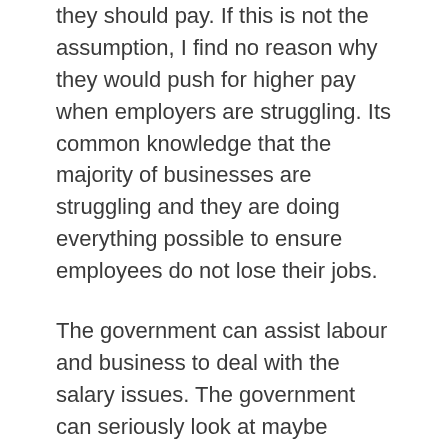they should pay. If this is not the assumption, I find no reason why they would push for higher pay when employers are struggling. Its common knowledge that the majority of businesses are struggling and they are doing everything possible to ensure employees do not lose their jobs.
The government can assist labour and business to deal with the salary issues. The government can seriously look at maybe reducing taxes on employee remuneration. This will ensure that the little that employees are receiving can go towards meeting their basic needs. In other countries for example productivity based remuneration or incentives are taxed at half the normal tax on remuneration. This will greatly assist employees to benefit from productivity gains. This will create a win –win situation where the employer benefits and the employee benefits. The government...